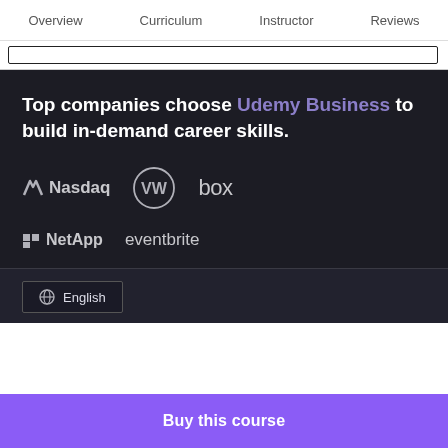Overview  Curriculum  Instructor  Reviews
Top companies choose Udemy Business to build in-demand career skills.
[Figure (logo): Company logos: Nasdaq, Volkswagen, box, NetApp, eventbrite on dark background]
English
Buy this course